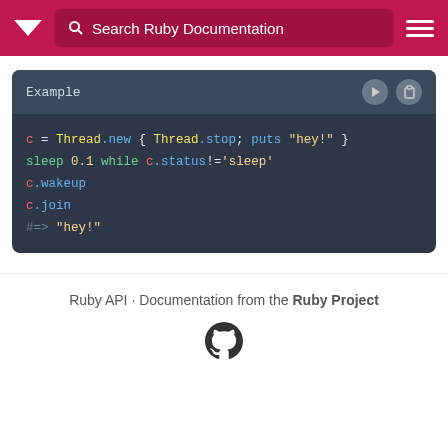Search Ruby Documentation
[Figure (screenshot): Ruby code example block showing Thread usage with wakeup and join, output #=> "hey!"]
Ruby API · Documentation from the Ruby Project
[Figure (logo): GitHub Octocat logo icon]